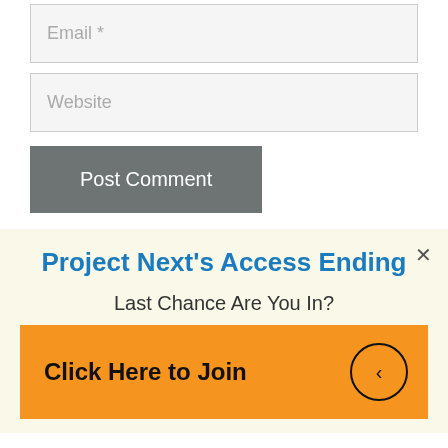Email *
Website
Post Comment
Project Next's Access Ending
Last Chance Are You In?
Click Here to Join